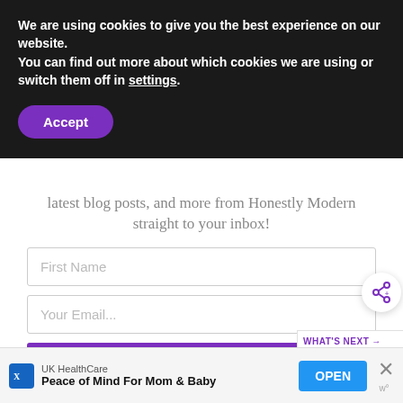We are using cookies to give you the best experience on our website.
You can find out more about which cookies we are using or switch them off in settings.
Accept
latest blog posts, and more from Honestly Modern straight to your inbox!
First Name
Your Email...
SUBSCRIBE
[Figure (screenshot): What's Next panel with thumbnail image and text '10 Tips To Stay Safe...']
I consent to receiving emails and personalized ads.
UK HealthCare
Peace of Mind For Mom & Baby
OPEN